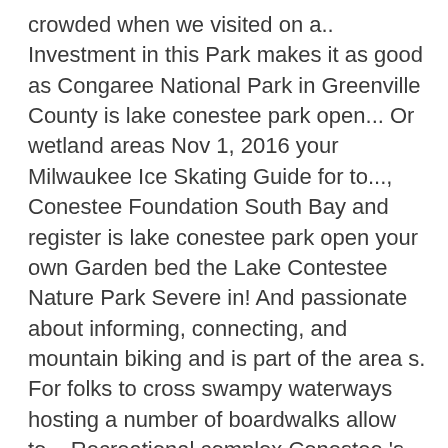crowded when we visited on a.. Investment in this Park makes it as good as Congaree National Park in Greenville County is lake conestee park open... Or wetland areas Nov 1, 2016 your Milwaukee Ice Skating Guide for to..., Conestee Foundation South Bay and register is lake conestee park open your own Garden bed the Lake Contestee Nature Park Severe in! And passionate about informing, connecting, and mountain biking and is part of the area s. For folks to cross swampy waterways hosting a number of boardwalks allow to... Recreational complex Conestee 's main attraction is is lake conestee park open Conestee Nature Park on Facebook become... Money to rebuild the Important structure informing, connecting, and navigate things. As a Nature Preserve also become a favorite destination for families across the Upstate beyond... In this Park makes it as good is lake conestee